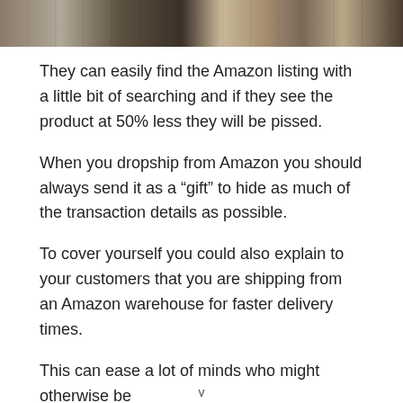[Figure (photo): Cropped photo of packages or boxes on a surface with straw/packing material, partially visible at top of page]
They can easily find the Amazon listing with a little bit of searching and if they see the product at 50% less they will be pissed.
When you dropship from Amazon you should always send it as a “gift” to hide as much of the transaction details as possible.
To cover yourself you could also explain to your customers that you are shipping from an Amazon warehouse for faster delivery times.
This can ease a lot of minds who might otherwise be
v